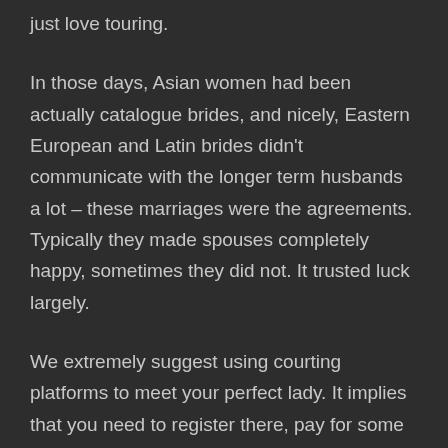just love touring.
In those days, Asian women had been actually catalogue brides, and nicely, Eastern European and Latin brides didn't communicate with the longer term husbands a lot – these marriages were the agreements. Typically they made spouses completely happy, sometimes they did not. It trusted luck largely.
We extremely suggest using courting platforms to meet your perfect lady. It implies that you need to register there, pay for some services like sending presents and flowers and video chat (if you want find a bride online to, in fact), after which you possibly can ask your beautiful bride to return to you! After a pleasing and